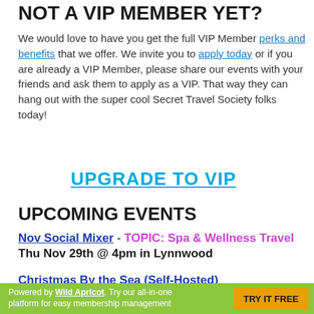NOT A VIP MEMBER YET?
We would love to have you get the full VIP Member perks and benefits that we offer. We invite you to apply today or if you are already a VIP Member, please share our events with your friends and ask them to apply as a VIP. That way they can hang out with the super cool Secret Travel Society folks today!
UPGRADE TO VIP
UPCOMING EVENTS
Nov Social Mixer - TOPIC: Spa & Wellness Travel
Thu Nov 29th @ 4pm in Lynnwood
Christmas By the Sea (Self-Hosted)
Powered by Wild Apricot. Try our all-in-one platform for easy membership management  TRY IT FREE